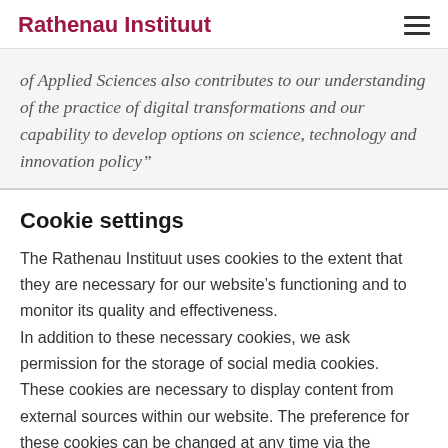Rathenau Instituut
of Applied Sciences also contributes to our understanding of the practice of digital transformations and our capability to develop options on science, technology and innovation policy"
Cookie settings
The Rathenau Instituut uses cookies to the extent that they are necessary for our website's functioning and to monitor its quality and effectiveness. In addition to these necessary cookies, we ask permission for the storage of social media cookies. These cookies are necessary to display content from external sources within our website. The preference for these cookies can be changed at any time via the cookie settings.